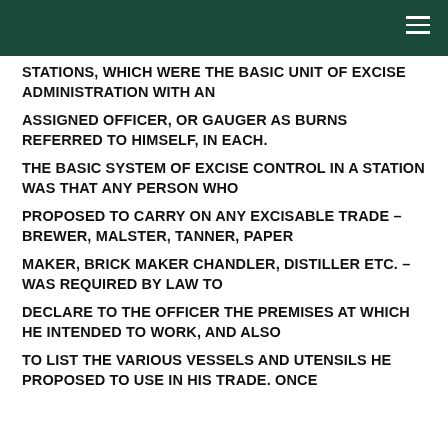STATIONS, WHICH WERE THE BASIC UNIT OF EXCISE ADMINISTRATION WITH AN ASSIGNED OFFICER, OR GAUGER AS BURNS REFERRED TO HIMSELF, IN EACH. THE BASIC SYSTEM OF EXCISE CONTROL IN A STATION WAS THAT ANY PERSON WHO PROPOSED TO CARRY ON ANY EXCISABLE TRADE – BREWER, MALSTER, TANNER, PAPER MAKER, BRICK MAKER CHANDLER, DISTILLER ETC. – WAS REQUIRED BY LAW TO DECLARE TO THE OFFICER THE PREMISES AT WHICH HE INTENDED TO WORK, AND ALSO TO LIST THE VARIOUS VESSELS AND UTENSILS HE PROPOSED TO USE IN HIS TRADE. ONCE